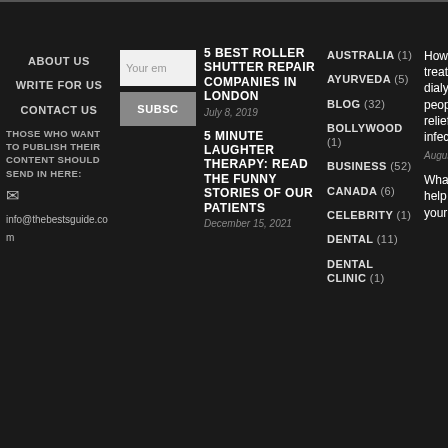ABOUT US
WRITE FOR US
CONTACT US
THOSE WHO WANT TO PUBLISH THEIR CONTENT SHOULD SEND IN HERE:
info@thebestsguide.com
Your em (email placeholder) SUBSC (subscribe button)
5 BEST ROLLER SHUTTER REPAIR COMPANIES IN LONDON
July 8, 2019
5 MINUTE LAUGHTER THERAPY: READ THE FUNNY STORIES OF OUR PATIENTS
December 15, 2021
AUSTRALIA (1)
AYURVEDA (5)
BLOG (32)
BOLLYWOOD (1)
BUSINESS (52)
CANADA (6)
CELEBRITY (1)
DENTAL (11)
DENTAL CLINIC (1)
How the treatment of dialysis helps people to get relief from their infected kidneys?
August 22, 2022
What things will help you to beat your problem of
^ (back to top button)